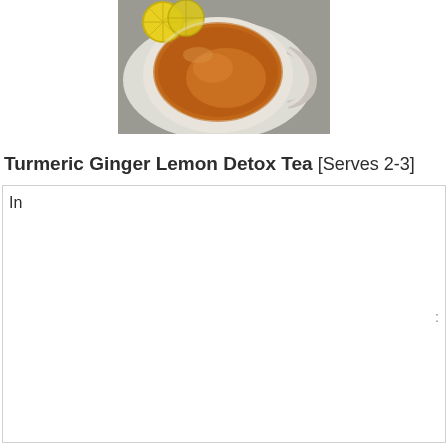[Figure (photo): A cup of turmeric ginger lemon detox tea with lemon slices on the rim, viewed from above, amber/orange colored tea in a white cup]
Turmeric Ginger Lemon Detox Tea  [Serves 2-3]
In
: